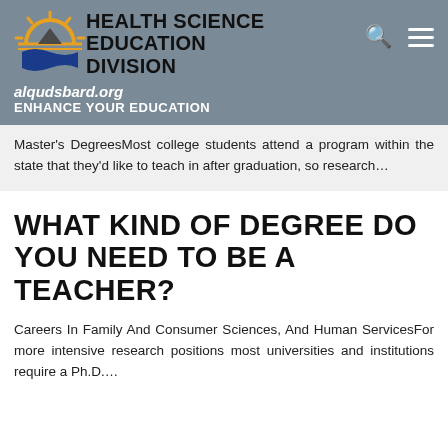HEALTH SCIENCE EDUCATION DIVISION
alqudsbard.org
ENHANCE YOUR EDUCATION
Master's DegreesMost college students attend a program within the state that they'd like to teach in after graduation, so research…
WHAT KIND OF DEGREE DO YOU NEED TO BE A TEACHER?
Careers In Family And Consumer Sciences, And Human ServicesFor more intensive research positions most universities and institutions require a Ph.D....